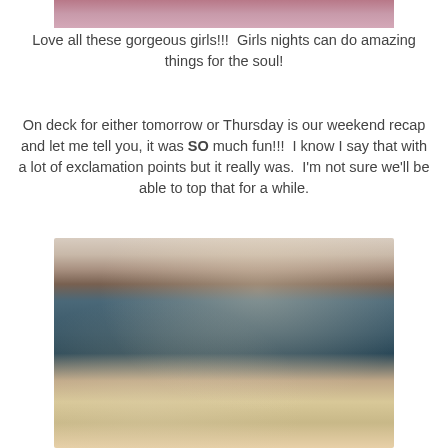[Figure (photo): Partial photo of group of girls at top of page, cropped]
Love all these gorgeous girls!!!  Girls nights can do amazing things for the soul!
On deck for either tomorrow or Thursday is our weekend recap and let me tell you, it was SO much fun!!!  I know I say that with a lot of exclamation points but it really was.  I'm not sure we'll be able to top that for a while.
[Figure (photo): Selfie photo of a man wearing a white baseball cap and dark teal Green Bay Packers Alumni polo shirt, and a blonde woman smiling]